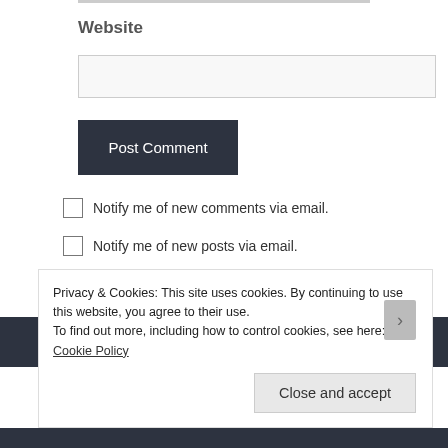Website
[Figure (screenshot): Website text input field (empty, light gray background)]
[Figure (screenshot): Post Comment button, dark navy background with white text]
Notify me of new comments via email.
Notify me of new posts via email.
Privacy & Cookies: This site uses cookies. By continuing to use this website, you agree to their use.
To find out more, including how to control cookies, see here: Cookie Policy
Close and accept